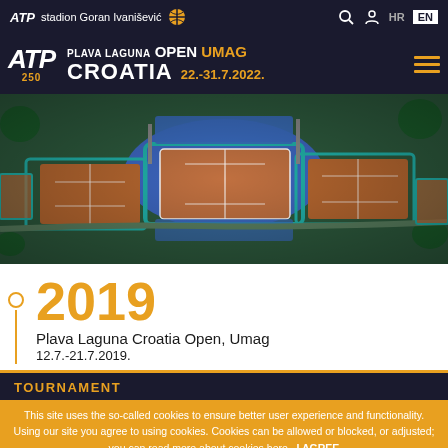ATP stadion Goran Ivanišević | HR | EN
ATP 250 PLAVA LAGUNA OPEN UMAG CROATIA 22.-31.7.2022.
[Figure (photo): Aerial view of ATP tennis stadium in Umag, Croatia, showing multiple clay courts illuminated at dusk/evening with blue seating stands]
2019
Plava Laguna Croatia Open, Umag
12.7.-21.7.2019.
TOURNAMENT
This site uses the so-called cookies to ensure better user experience and functionality. Using our site you agree to using cookies. Cookies can be allowed or blocked, or adjusted; you can read more about cookies here. I AGREE